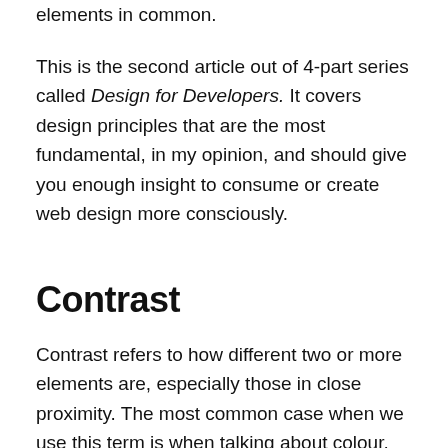elements in common.
This is the second article out of 4-part series called Design for Developers. It covers design principles that are the most fundamental, in my opinion, and should give you enough insight to consume or create web design more consciously.
Contrast
Contrast refers to how different two or more elements are, especially those in close proximity. The most common case when we use this term is when talking about colour. But in the definition